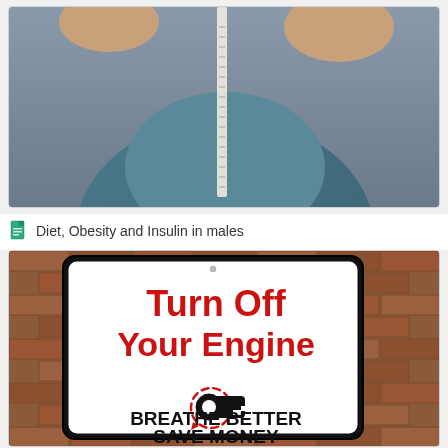[Figure (photo): Close-up photo of a person in a blue/teal sweatshirt with a measuring tape around their midsection, suggesting obesity or weight measurement context. Gray background.]
Diet, Obesity and Insulin in males
[Figure (photo): Photo of a white rectangular street/parking sign mounted on a brick wall. The sign reads 'Turn Off Your Engine' in large red bold text, with a key-in-ignition icon below, and 'BREATHE BETTER SAVE MONEY' in large black bold text at the bottom.]